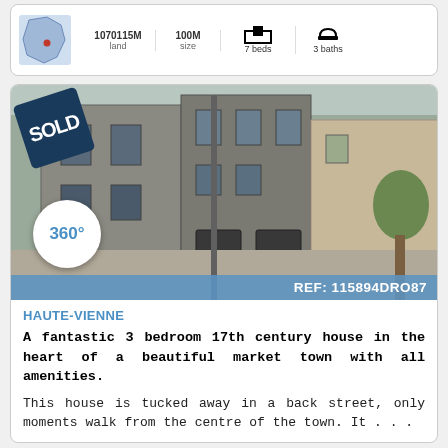[Figure (other): Top listing card showing map thumbnail of France region, land area (1070115M), size (100M), 7 beds, 3 baths]
[Figure (photo): Sold listing card with photo of a 17th century stone townhouse in a back street, SOLD badge overlay, 360 degree badge overlay, REF: 115894DRO87]
HAUTE-VIENNE
A fantastic 3 bedroom 17th century house in the heart of a beautiful market town with all amenities.
This house is tucked away in a back street, only moments walk from the centre of the town. It . . .
REGION: LIMOUSIN